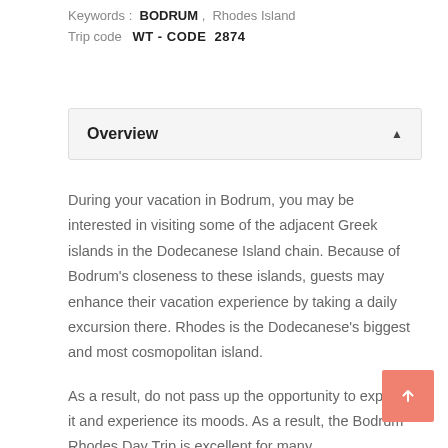Keywords : BODRUM , Rhodes Island
Trip code   WT - CODE  2874
Overview
During your vacation in Bodrum, you may be interested in visiting some of the adjacent Greek islands in the Dodecanese Island chain. Because of Bodrum's closeness to these islands, guests may enhance their vacation experience by taking a daily excursion there. Rhodes is the Dodecanese's biggest and most cosmopolitan island.
As a result, do not pass up the opportunity to explore it and experience its moods. As a result, the Bodrum Rhodes Day Trip is excellent for many